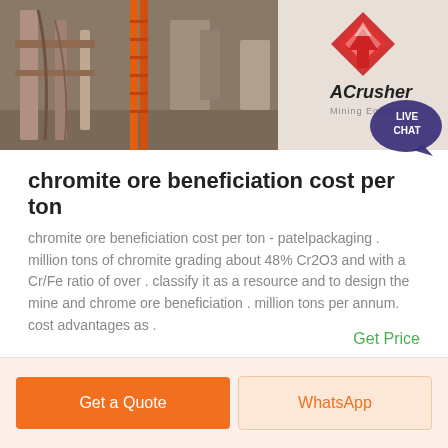[Figure (photo): Banner showing mining/construction machinery on the left side, and ACrusher Mining Equipment logo on the right side with a teal live chat bubble.]
chromite ore beneficiation cost per ton
chromite ore beneficiation cost per ton - patelpackaging . million tons of chromite grading about 48% Cr2O3 and with a Cr/Fe ratio of over . classify it as a resource and to design the mine and chrome ore beneficiation . million tons per annum. cost advantages as .
Get Price
Get a Quote
WhatsApp